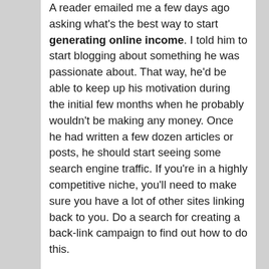A reader emailed me a few days ago asking what's the best way to start generating online income. I told him to start blogging about something he was passionate about. That way, he'd be able to keep up his motivation during the initial few months when he probably wouldn't be making any money. Once he had written a few dozen articles or posts, he should start seeing some search engine traffic. If you're in a highly competitive niche, you'll need to make sure you have a lot of other sites linking back to you. Do a search for creating a back-link campaign to find out how to do this.

Once you see search engine traffic you should include ads in your site.  I include ads from Comission Junction, Adsense, Linkworth, Text-Link-Ads, ADSDAQ and Kontera. While individually they aren't significant amounts, the